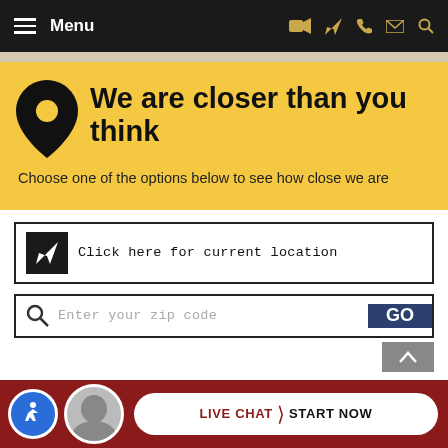Menu
We are closer than you think
Choose one of the options below to see how close we are
Click here for current location
Enter your zip code
LIVE CHAT  START NOW